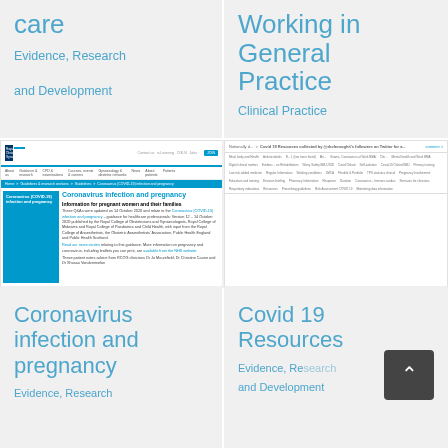care
Evidence, Research and Development
Working in General Practice
Clinical Practice
[Figure (screenshot): RCOG website screenshot showing 'Coronavirus infection and pregnancy' page with navigation header, breadcrumb trail, sidebar menu, article title and body text about information for pregnant women and their families]
[Figure (screenshot): Covid-19 Resources webpage screenshot showing a grid of resource links/categories collected from followers on Twitter]
Coronavirus infection and pregnancy
Evidence, Research
Covid 19 Resources
Evidence, Research and Development